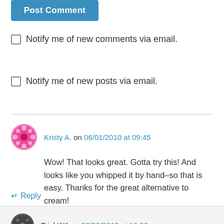[Figure (other): Blue 'Post Comment' button at top of page]
Notify me of new comments via email.
Notify me of new posts via email.
Kristy A. on 06/01/2010 at 09:45
Wow! That looks great. Gotta try this! And looks like you whipped it by hand–so that is easy. Thanks for the great alternative to cream!
Like
Reply
TrishWA on 06/20/2012 at 16:29